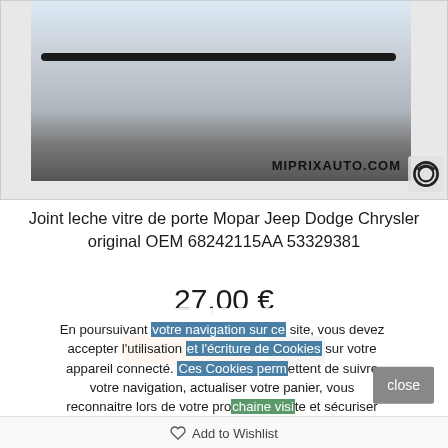[Figure (photo): Product photo of a Mopar wiper blade / door glass seal strip on a white background, with MIPRIXAUTO.COM watermark and a copyright camera icon in the lower right corner.]
Joint leche vitre de porte Mopar Jeep Dodge Chrysler original OEM 68242115AA 53329381
27,00 €
En poursuivant votre navigation sur ce site, vous devez accepter l'utilisation et l'écriture de Cookies sur votre appareil connecté. Ces Cookies permettent de suivre votre navigation, actualiser votre panier, vous reconnaitre lors de votre prochaine visite et sécuriser votre connexion. Pour en savoir plus et paramétrer les traceurs:
Add to Wishlist